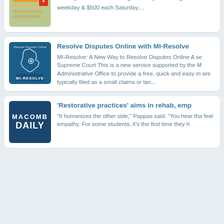[Figure (screenshot): Card 1: Lottery ticket image with text, partially visible at top]
Match your ticket with Michigan's Daily 3 Evening Draw weekday & $500 each Saturday....
[Figure (logo): MI-Resolve logo: blue background with Michigan state outline and text 'Resolve Disputes Online' and 'MI-RESOLVE']
Resolve Disputes Online with MI-Resolve
MI-Resolve: A New Way to Resolve Disputes Online A se Supreme Court This is a new service supported by the M Administrative Office to provide a free, quick and easy m are typically filed as a small claims or lan...
[Figure (logo): Macomb Daily logo: dark blue background with white text 'MACOMB DAILY']
'Restorative practices' aims in rehab, emp
“It humanizes the other side,” Pappas said. “You hear tha feel empathy. For some students, it’s the first time they h